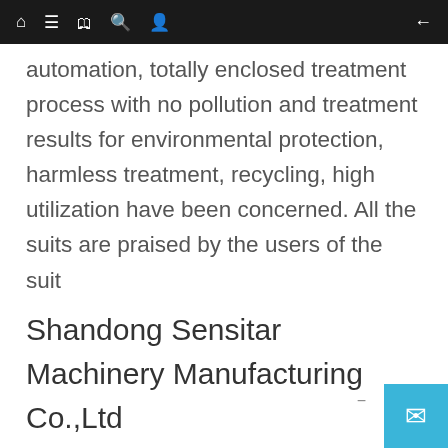navigation bar with home, menu, book, search, user icons and back arrow
automation, totally enclosed treatment process with no pollution and treatment results for environmental protection, harmless treatment, recycling, high utilization have been concerned. All the suits are praised by the users of the suit
Shandong Sensitar Machinery Manufacturing Co.,Ltd